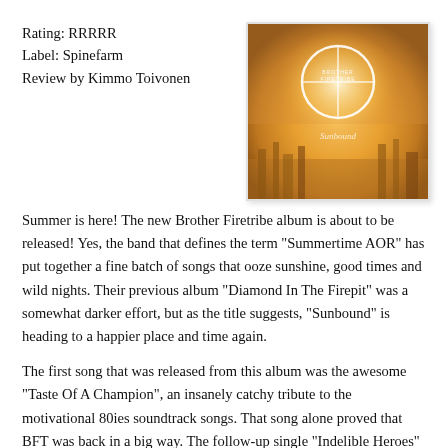Rating: RRRRR
Label: Spinefarm
Review by Kimmo Toivonen
[Figure (photo): Album cover for Brother Firetribe 'Sunbound' — warm golden-orange hazy cityscape background with a glowing white circular emblem/logo at top center and cursive 'Sunbound' text in the lower-center area.]
Summer is here! The new Brother Firetribe album is about to be released! Yes, the band that defines the term "Summertime AOR" has put together a fine batch of songs that ooze sunshine, good times and wild nights. Their previous album "Diamond In The Firepit" was a somewhat darker effort, but as the title suggests, "Sunbound" is heading to a happier place and time again.
The first song that was released from this album was the awesome "Taste Of A Champion", an insanely catchy tribute to the motivational 80ies soundtrack songs. That song alone proved that BFT was back in a big way. The follow-up single "Indelible Heroes" was a strangely bland one though, despite